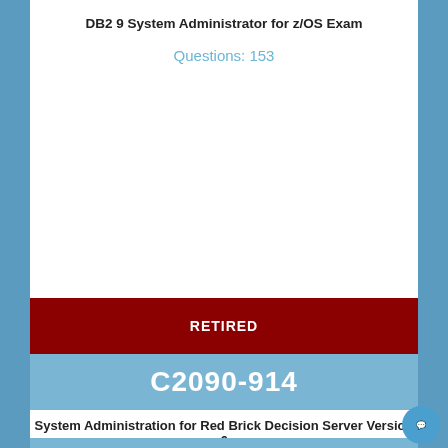DB2 9 System Administrator for z/OS Exam
Questions: 102
RETIRED
C2090-914
System Administration for Red Brick Decision Server Version 6
Questions: 153
RETIRED